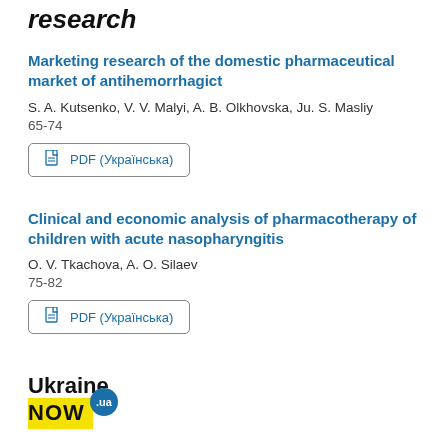research
Marketing research of the domestic pharmaceutical market of antihemorrhagict
S. A. Kutsenko, V. V. Malyi, A. B. Olkhovska, Ju. S. Masliy
65-74
PDF (Українська)
Clinical and economic analysis of pharmacotherapy of children with acute nasopharyngitis
O. V. Tkachova, A. O. Silaev
75-82
PDF (Українська)
[Figure (logo): Ukraine NOW .ua logo with black text 'Ukraine', yellow background 'NOW' text, and blue circular .ua badge]